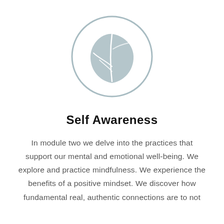[Figure (illustration): A circular icon with a grey leaf/plant symbol inside a thin grey circle outline]
Self Awareness
In module two we delve into the practices that support our mental and emotional well-being. We explore and practice mindfulness. We experience the benefits of a positive mindset. We discover how fundamental real, authentic connections are to not